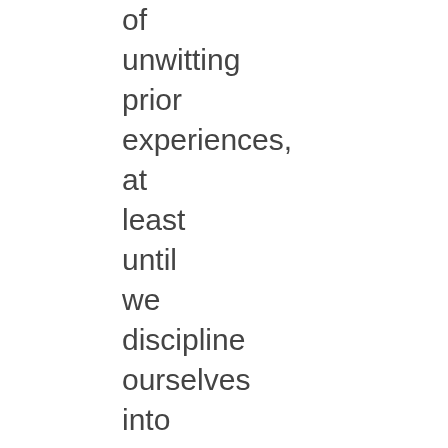of unwitting prior experiences, at least until we discipline ourselves into a something superior. Habit is the capacitor of behavior.

And of course social conditioning, by culture